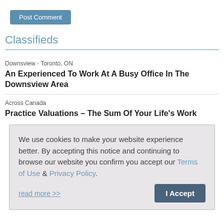[Figure (screenshot): Post Comment button — a teal/blue rounded rectangle button with white text reading 'Post Comment']
Classifieds
Downsview - Toronto, ON
An Experienced To Work At A Busy Office In The Downsview Area
Across Canada
Practice Valuations – The Sum Of Your Life's Work
We use cookies to make your website experience better. By accepting this notice and continuing to browse our website you confirm you accept our Terms of Use & Privacy Policy.
read more >>
[Figure (screenshot): I Accept button — a dark blue/slate rounded rectangle button with white bold text reading 'I Accept']